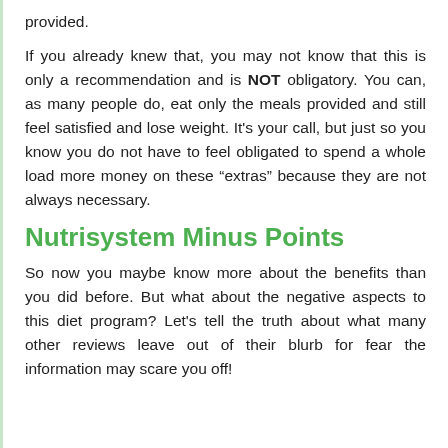provided.
If you already knew that, you may not know that this is only a recommendation and is NOT obligatory. You can, as many people do, eat only the meals provided and still feel satisfied and lose weight. It’s your call, but just so you know you do not have to feel obligated to spend a whole load more money on these “extras” because they are not always necessary.
Nutrisystem Minus Points
So now you maybe know more about the benefits than you did before. But what about the negative aspects to this diet program? Let’s tell the truth about what many other reviews leave out of their blurb for fear the information may scare you off!